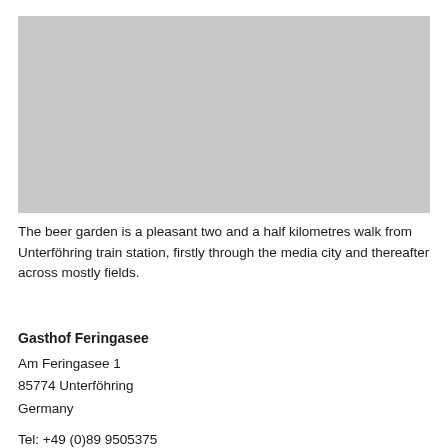[Figure (photo): Placeholder grey rectangle representing a photo of the beer garden or lake area]
The beer garden is a pleasant two and a half kilometres walk from Unterföhring train station, firstly through the media city and thereafter across mostly fields.
Gasthof Feringasee
Am Feringasee 1
85774 Unterföhring
Germany
Tel: +49 (0)89 9505375